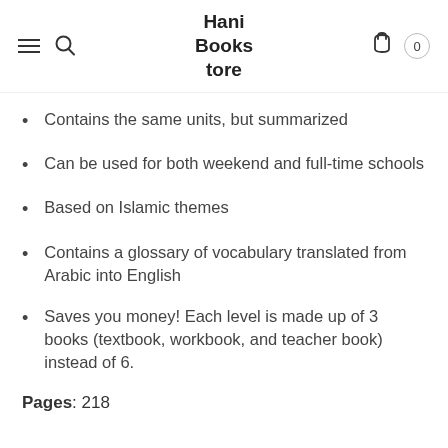Hani Bookstore
Contains the same units, but summarized
Can be used for both weekend and full-time schools
Based on Islamic themes
Contains a glossary of vocabulary translated from Arabic into English
Saves you money! Each level is made up of 3 books (textbook, workbook, and teacher book) instead of 6.
Pages: 218